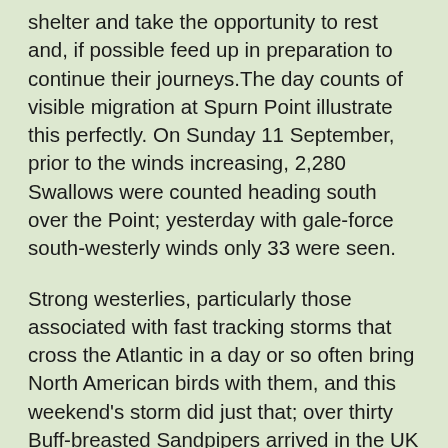shelter and take the opportunity to rest and, if possible feed up in preparation to continue their journeys.The day counts of visible migration at Spurn Point illustrate this perfectly. On Sunday 11 September, prior to the winds increasing, 2,280 Swallows were counted heading south over the Point; yesterday with gale-force south-westerly winds only 33 were seen.
Strong westerlies, particularly those associated with fast tracking storms that cross the Atlantic in a day or so often bring North American birds with them, and this weekend's storm did just that; over thirty Buff-breasted Sandpipers arrived in the UK during the weekend. This high Arctic breeding wader leaves its breeding grounds in Alaska and western Canada during August and September, heading for the Paraguayan and Argentinian pampas. The eastern breeding birds complete this huge migration in one long flight over the sea from New England to Paraguay and Argentina, so are often prone to getting caught up in these fast tracking storms. The winds also brought the first American passerine to our shores, a Red-eyed Vireo, to the Isles of Scilly. This bird would have been making its way to